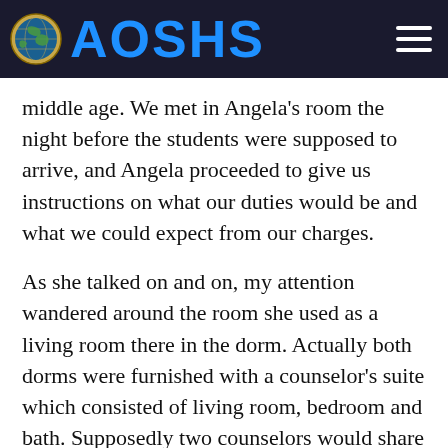AOSHS
middle age. We met in Angela’s room the night before the students were supposed to arrive, and Angela proceeded to give us instructions on what our duties would be and what we could expect from our charges.
As she talked on and on, my attention wandered around the room she used as a living room there in the dorm. Actually both dorms were furnished with a counselor’s suite which consisted of living room, bedroom and bath. Supposedly two counselors would share this suite, but as it turned out we chose to use one of the student’s rooms as a bedroom and only shared the living room and bath. But Angela had left her stamp on this room since she had been there a year, and there